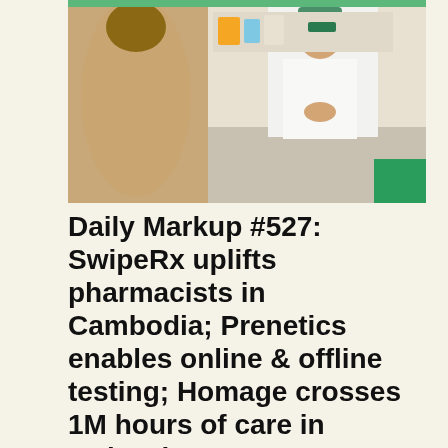[Figure (photo): Photo of a pharmacist in white coat with hands clasped, behind a pharmacy counter, with a patient in a beige/tan top facing away in the foreground.]
Daily Markup #527: SwipeRx uplifts pharmacists in Cambodia; Prenetics enables online & offline testing; Homage crosses 1M hours of care in Malaysia
Sweet news for diabetes prevention & care Better healthcare starts with better access to...
June 20, 2022 ·